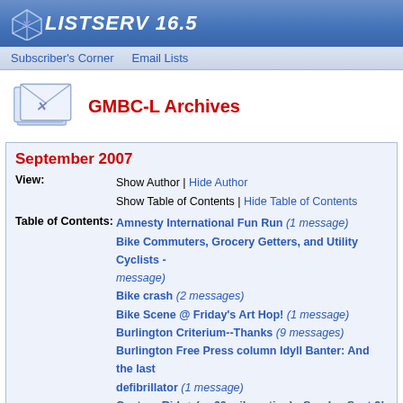LISTSERV 16.5
Subscriber's Corner | Email Lists
GMBC-L Archives
September 2007
View: Show Author | Hide Author Show Table of Contents | Hide Table of Contents
Table of Contents: Amnesty International Fun Run (1 message)
Bike Commuters, Grocery Getters, and Utility Cyclists - message)
Bike crash (2 messages)
Bike Scene @ Friday's Art Hop! (1 message)
Burlington Criterium--Thanks (9 messages)
Burlington Free Press column Idyll Banter: And the last defibrillator (1 message)
Century Ride+ (or 60 mile option) - Sunday Sept 9! (1 me
Chris Hamlin (1 message)
Cochran 100 Bike Ride (1 message)
Connecticut River Challenge (1 message)
Corinne Crawford Endowment Scholarship Fund (1 mes